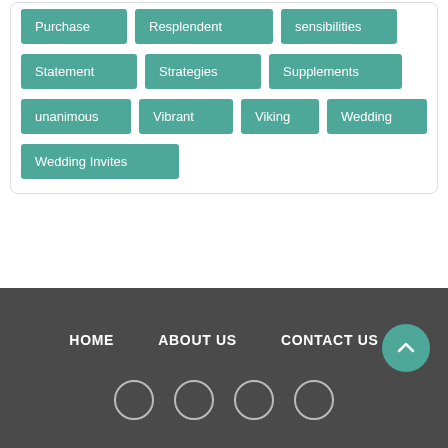Purchase
Resplendent
sensibilities
Statement
Strategies
Supplements
unanimous
Vibrant
Viking
Wedding
Wedding Invites
HOME   ABOUT US   CONTACT US